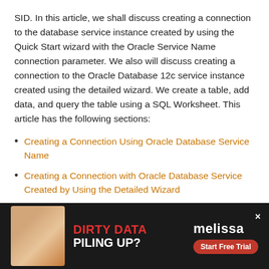SID. In this article, we shall discuss creating a connection to the database service instance created by using the Quick Start wizard with the Oracle Service Name connection parameter. We also will discuss creating a connection to the Oracle Database 12c service instance created using the detailed wizard. We create a table, add data, and query the table using a SQL Worksheet. This article has the following sections:
Creating a Connection Using Oracle Database Service Name
Creating a Connection with Oracle Database Service Created by Using the Detailed Wizard
Using Service SID
Using...
[Figure (other): Advertisement banner overlay at bottom of page. Dark background with a person photo on left, text 'DIRTY DATA PILING UP?' in red and white, 'melissa' brand name in white, 'Start Free Trial' red button, and an X close button in top right corner.]